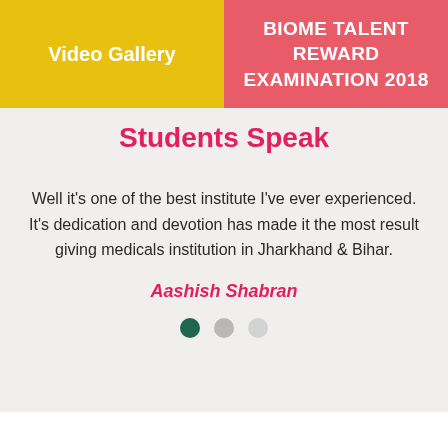Video Gallery
BIOME TALENT REWARD EXAMINATION 2018
Students Speak
Well it's one of the best institute I've ever experienced. It's dedication and devotion has made it the most result giving medicals institution in Jharkhand & Bihar.
Aashish Shabran